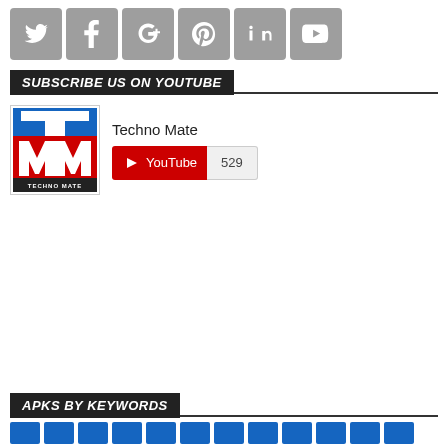[Figure (illustration): Row of six social media icon buttons (Twitter, Facebook, Google+, Pinterest, LinkedIn, YouTube) in gray square tiles]
SUBSCRIBE US ON YOUTUBE
[Figure (illustration): Techno Mate logo: blue and red T-M logo with 'TECHNO MATE' text, alongside YouTube subscribe button showing 529 subscribers]
APKS BY KEYWORDS
[Figure (illustration): Row of blue keyword tag buttons at the bottom of the page]